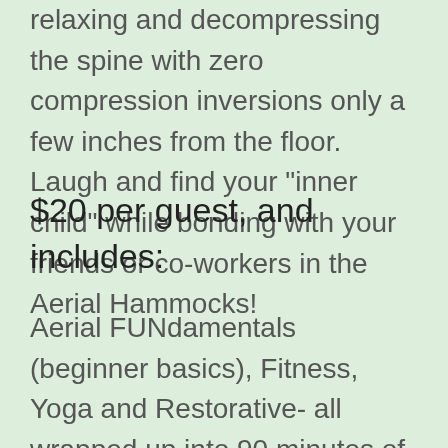relaxing and decompressing the spine with zero compression inversions only a few inches from the floor. Laugh and find your "inner child" while bonding with your friends or co-workers in the Aerial Hammocks!
$20 per guest, and includes:
Aerial FUNdamentals (beginner basics), Fitness, Yoga and Restorative- all wrapped up into 90 minutes of Fun with Lots of Benefits to both your mind and body!